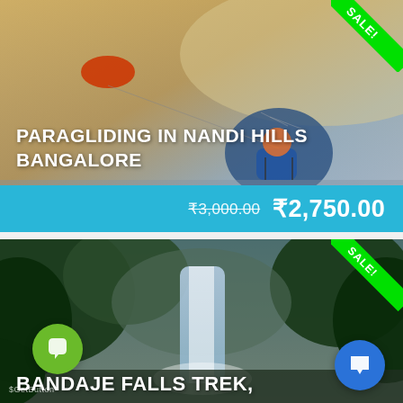[Figure (photo): Paragliding photo showing a person in a harness flying over hazy landscape in Nandi Hills Bangalore, with SALE! ribbon badge in top right corner. Price bar at bottom showing strikethrough ₹3,000.00 and sale price ₹2,750.00 on cyan background.]
PARAGLIDING IN NANDI HILLS BANGALORE
₹3,000.00 ₹2,750.00
[Figure (photo): Waterfall trek photo showing lush green jungle with a waterfall in the background. SALE! ribbon badge in top right corner. Green chat button and blue chat button overlaid. Text BANDAJE FALLS TREK, visible at bottom.]
BANDAJE FALLS TREK,